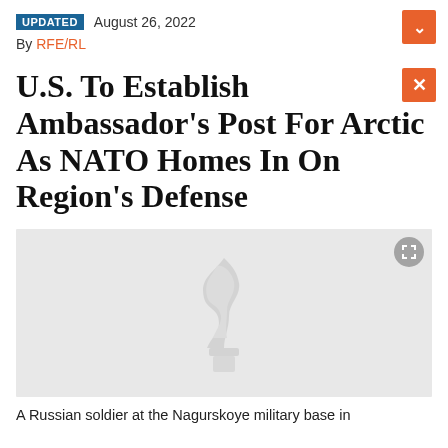UPDATED August 26, 2022
By RFE/RL
U.S. To Establish Ambassador's Post For Arctic As NATO Homes In On Region's Defense
[Figure (photo): Photo placeholder with RFE/RL watermark logo (gray background). A Russian soldier at the Nagurskoye military base in]
A Russian soldier at the Nagurskoye military base in